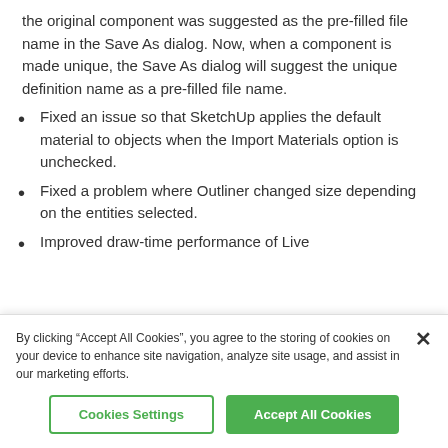the original component was suggested as the pre-filled file name in the Save As dialog. Now, when a component is made unique, the Save As dialog will suggest the unique definition name as a pre-filled file name.
Fixed an issue so that SketchUp applies the default material to objects when the Import Materials option is unchecked.
Fixed a problem where Outliner changed size depending on the entities selected.
Improved draw-time performance of Live
By clicking “Accept All Cookies”, you agree to the storing of cookies on your device to enhance site navigation, analyze site usage, and assist in our marketing efforts.